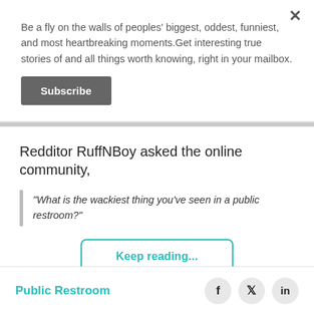Be a fly on the walls of peoples' biggest, oddest, funniest, and most heartbreaking moments.Get interesting true stories of and all things worth knowing, right in your mailbox.
Subscribe
Redditor RuffNBoy asked the online community,
"What is the wackiest thing you've seen in a public restroom?"
Keep reading...
Public Restroom